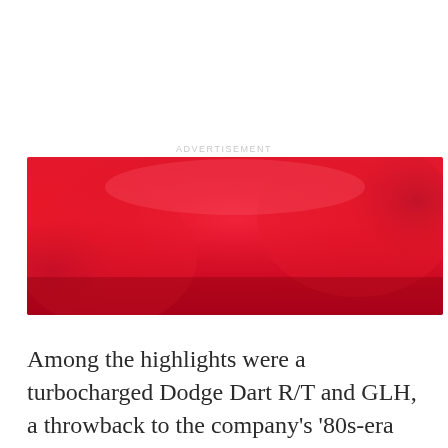[Figure (photo): Red advertisement banner image with blurred red tones, appearing to show a red vehicle or background.]
Among the highlights were a turbocharged Dodge Dart R/T and GLH, a throwback to the company's '80s-era Shelby connection (GLH meaning, of course, Goes Like Hell), a 1,000 horsepower ADR Challenger built for the drag strip, and the Ram Power Wagon, a